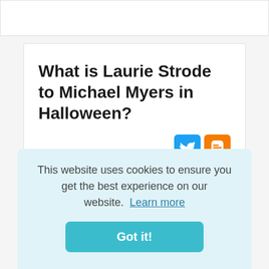What is Laurie Strode to Michael Myers in Halloween?
Laurie Strode (Jamie Lee Curtis) confronts her evil brother Michael Myers in "Halloween Resurrection." Three years after the events
This website uses cookies to ensure you get the best experience on our website. Learn more
Got it!